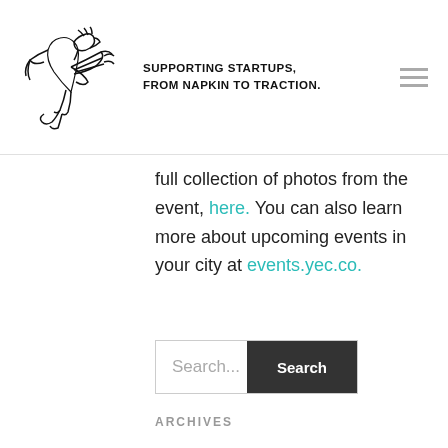SUPPORTING STARTUPS, FROM NAPKIN TO TRACTION.
full collection of photos from the event, here. You can also learn more about upcoming events in your city at events.yec.co.
Search...
ARCHIVES
July 2022
June 2022